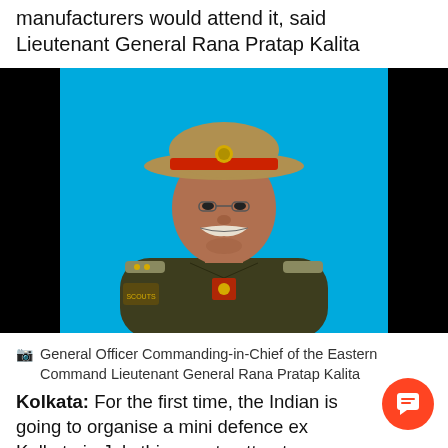manufacturers would attend it, said Lieutenant General Rana Pratap Kalita
[Figure (photo): Portrait photo of Lieutenant General Rana Pratap Kalita in Indian Army uniform with olive/khaki dress and military hat on a cyan/blue background, black panels on both sides.]
General Officer Commanding-in-Chief of the Eastern Command Lieutenant General Rana Pratap Kalita
Kolkata: For the first time, the Indian is going to organise a mini defence ex Kolkata in July this year to attract